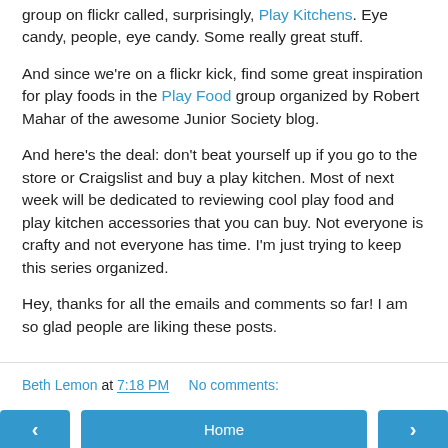group on flickr called, surprisingly, Play Kitchens. Eye candy, people, eye candy. Some really great stuff.
And since we're on a flickr kick, find some great inspiration for play foods in the Play Food group organized by Robert Mahar of the awesome Junior Society blog.
And here's the deal: don't beat yourself up if you go to the store or Craigslist and buy a play kitchen. Most of next week will be dedicated to reviewing cool play food and play kitchen accessories that you can buy. Not everyone is crafty and not everyone has time. I'm just trying to keep this series organized.
Hey, thanks for all the emails and comments so far! I am so glad people are liking these posts.
Beth Lemon at 7:18 PM   No comments: